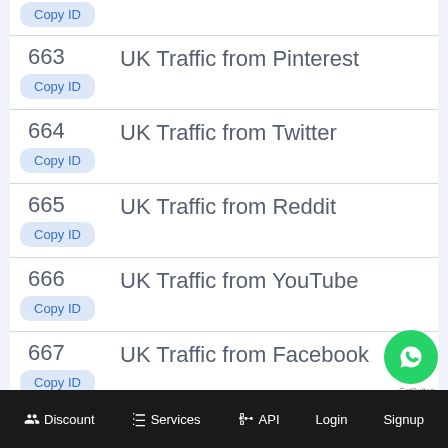Copy ID (partial top)
663 — UK Traffic from Pinterest — Copy ID
664 — UK Traffic from Twitter — Copy ID
665 — UK Traffic from Reddit — Copy ID
666 — UK Traffic from YouTube — Copy ID
667 — UK Traffic from Facebook — Copy ID
Discount   Services   API   Login   Signup   GetButton